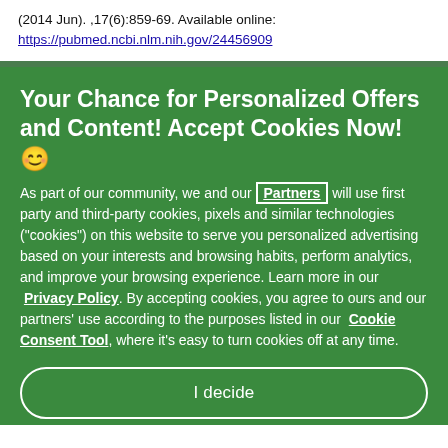(2014 Jun). ,17(6):859-69. Available online: https://pubmed.ncbi.nlm.nih.gov/24456909
Your Chance for Personalized Offers and Content! Accept Cookies Now! 😊
As part of our community, we and our Partners will use first party and third-party cookies, pixels and similar technologies ("cookies") on this website to serve you personalized advertising based on your interests and browsing habits, perform analytics, and improve your browsing experience. Learn more in our Privacy Policy. By accepting cookies, you agree to ours and our partners' use according to the purposes listed in our Cookie Consent Tool, where it's easy to turn cookies off at any time.
I decide
Reject All Cookies